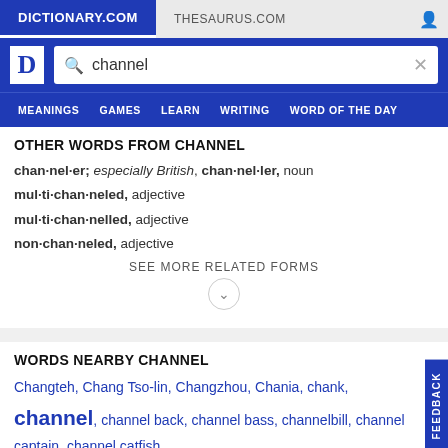[Figure (screenshot): Dictionary.com website header with tab bar showing DICTIONARY.COM active tab and THESAURUS.COM inactive tab, search bar with 'channel' query, and navigation menu with MEANINGS, GAMES, LEARN, WRITING, WORD OF THE DAY]
OTHER WORDS FROM CHANNEL
chan·nel·er; especially British, chan·nel·ler, noun
mul·ti·chan·neled, adjective
mul·ti·chan·nelled, adjective
non·chan·neled, adjective
SEE MORE RELATED FORMS
WORDS NEARBY CHANNEL
Changteh, Chang Tso-lin, Changzhou, Chania, chank, channel, channel back, channel bass, channelbill, channel captain, channel catfish